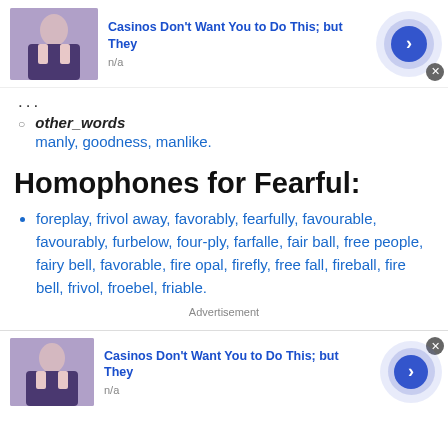[Figure (other): Advertisement banner: image of person, text 'Casinos Don't Want You to Do This; but They', 'n/a', blue arrow button]
...
other_words
manly, goodness, manlike.
Homophones for Fearful:
foreplay, frivol away, favorably, fearfully, favourable, favourably, furbelow, four-ply, farfalle, fair ball, free people, fairy bell, favorable, fire opal, firefly, free fall, fireball, fire bell, frivol, froebel, friable.
Advertisement
[Figure (other): Advertisement banner: image of person, text 'Casinos Don't Want You to Do This; but They', 'n/a', blue arrow button]